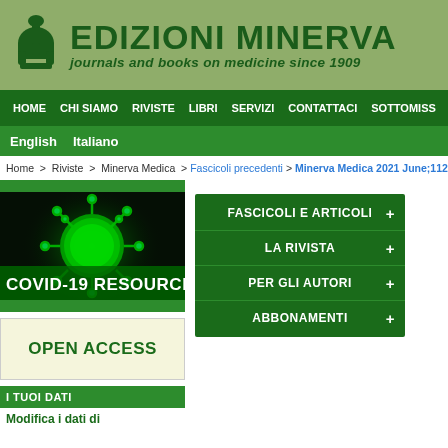[Figure (logo): Edizioni Minerva logo with Minerva helmet icon, text 'EDIZIONI MINERVA' and subtitle 'journals and books on medicine since 1909']
HOME  CHI SIAMO  RIVISTE  LIBRI  SERVIZI  CONTATTACI  SOTTOMISS
English  Italiano
Home > Riviste > Minerva Medica > Fascicoli precedenti > Minerva Medica 2021 June;112(3)
[Figure (photo): COVID-19 coronavirus green microscopy image with text overlay 'COVID-19 RESOURCES']
FASCICOLI E ARTICOLI +
LA RIVISTA +
PER GLI AUTORI +
ABBONAMENTI +
OPEN ACCESS
I TUOI DATI
Modifica i dati di